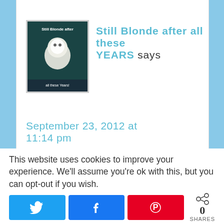[Figure (photo): Avatar/profile image for 'Still Blonde after all these YEARS' blog, showing a white-haired figure on dark teal background with text overlay]
Still Blonde after all these YEARS says
September 23, 2012 at 11:14 pm
Looks like you all had tons of fun. Great pictures of all the avenger items.
This website uses cookies to improve your experience. We'll assume you're ok with this, but you can opt-out if you wish.
0 SHARES